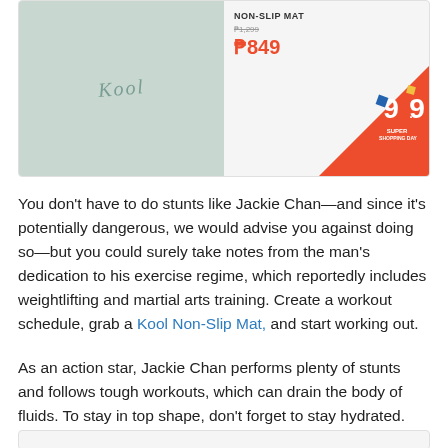[Figure (photo): Product card showing a Kool Non-Slip Mat in teal/mint color with the Kool logo, priced at P849 with a 9.9 Super Shopping Day sale badge in orange]
You don't have to do stunts like Jackie Chan—and since it's potentially dangerous, we would advise you against doing so—but you could surely take notes from the man's dedication to his exercise regime, which reportedly includes weightlifting and martial arts training. Create a workout schedule, grab a Kool Non-Slip Mat, and start working out.
As an action star, Jackie Chan performs plenty of stunts and follows tough workouts, which can drain the body of fluids. To stay in top shape, don't forget to stay hydrated. Always make sure to carry a Klean Kanteen Insulated Tumbler with you during workouts.
[Figure (photo): Bottom of another product card, partially visible]